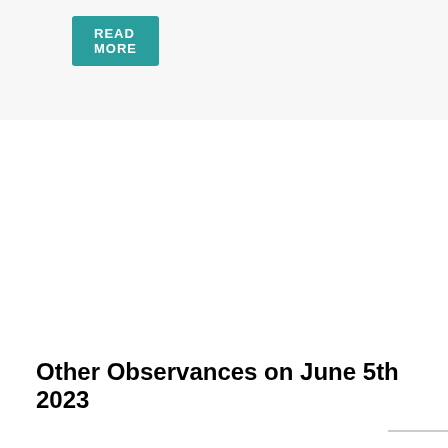READ MORE
Other Observances on June 5th 2023